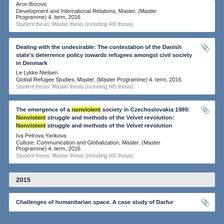Aron Brzovic
Development and International Relations, Master, (Master Programme) 4. term, 2016
Student thesis: Master thesis (including HD thesis)
Dealing with the undesirable: The contestation of the Danish state's deterrence policy towards refugees amongst civil society in Denmark
Le Lykke Nielsen
Global Refugee Studies, Master, (Master Programme) 4. term, 2016
Student thesis: Master thesis (including HD thesis)
The emergence of a nonviolent society in Czechoslovakia 1989: Nonviolent struggle and methods of the Velvet revolution: Nonviolent struggle and methods of the Velvet revolution
Iva Petrova Yankova
Culture, Communication and Globalization, Master, (Master Programme) 4. term, 2016
Student thesis: Master thesis (including HD thesis)
2015
Challenges of humanitarian space. A case study of Darfur